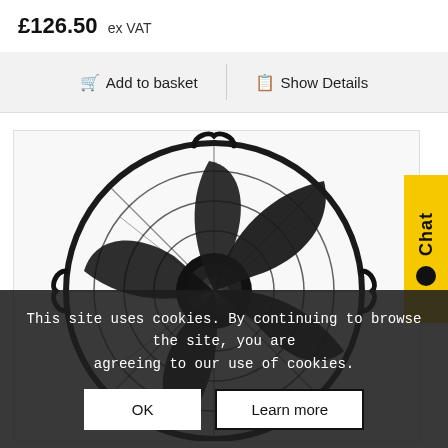£126.50 ex VAT
Add to basket  |  Show Details
[Figure (photo): Black axial fan with metal guard and blades, front-facing view on white background]
Chat
This site uses cookies. By continuing to browse the site, you are agreeing to our use of cookies.
OK
Learn more